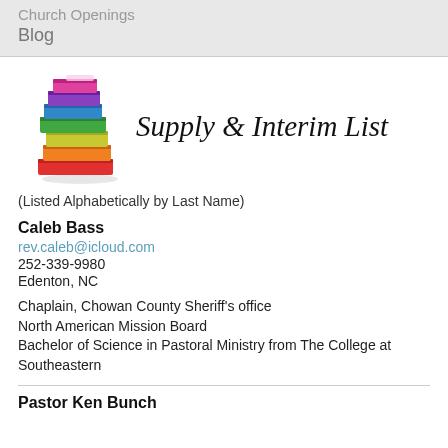Church Openings
Blog
[Figure (illustration): Stack of colorful books logo]
Supply & Interim List
(Listed Alphabetically by Last Name)
Caleb Bass
rev.caleb@icloud.com
252-339-9980
Edenton, NC
Chaplain, Chowan County Sheriff's office
North American Mission Board
Bachelor of Science in Pastoral Ministry from The College at Southeastern
Pastor Ken Bunch